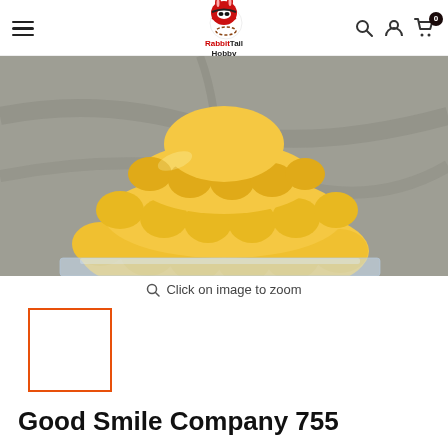RabbitTail Hobby - navigation header with logo, search, account, and cart icons
[Figure (photo): Close-up photo of a yellow layered dress on a Nendoroid figure, showing the bottom skirt portion resting on a clear acrylic stand, against a gray marble-like background.]
Click on image to zoom
[Figure (photo): Small thumbnail image placeholder with orange border]
Good Smile Company 755